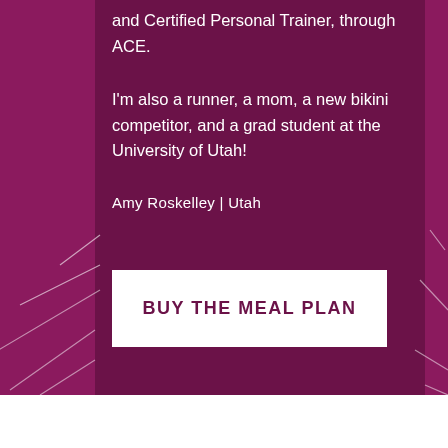and Certified Personal Trainer, through ACE.
I'm also a runner, a mom, a new bikini competitor, and a grad student at the University of Utah!
Amy Roskelley  |  Utah
BUY THE MEAL PLAN